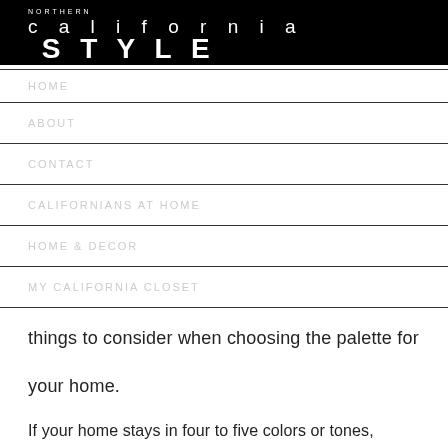NORTHERN california STYLE
HOME
ABOUT
CONTACT
CALIFORNIANS AT HOME
HOME & DECOR
MY CALIFORNIA CLOSET
things to consider when choosing the palette for your home.
If your home stays in four to five colors or tones,